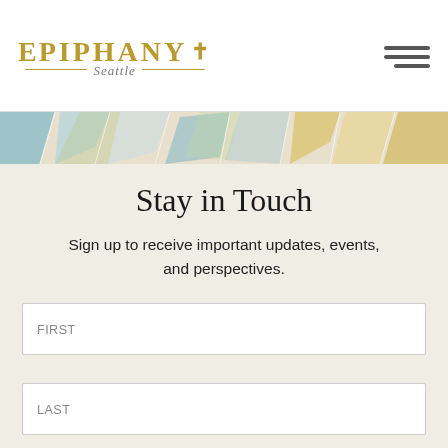[Figure (logo): Epiphany Seattle logo with gold cross symbol and decorative lines around 'Seattle' in italic]
[Figure (illustration): Decorative banner with abstract floral/stained-glass pattern in blue, gold, green, and cream tones]
Stay in Touch
Sign up to receive important updates, events, and perspectives.
FIRST
LAST